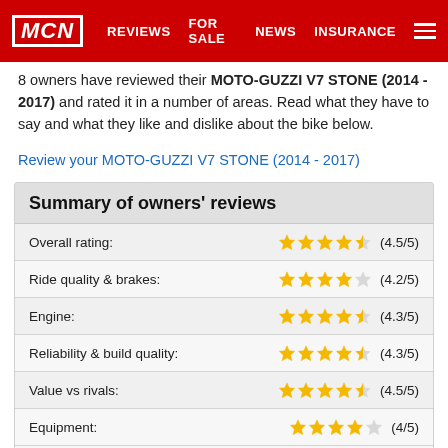MCN | REVIEWS | FOR SALE | NEWS | INSURANCE
8 owners have reviewed their MOTO-GUZZI V7 STONE (2014 - 2017) and rated it in a number of areas. Read what they have to say and what they like and dislike about the bike below.
Review your MOTO-GUZZI V7 STONE (2014 - 2017)
| Category | Rating | Score |
| --- | --- | --- |
| Overall rating: | ★★★★★½ | (4.5/5) |
| Ride quality & brakes: | ★★★★½☆ | (4.2/5) |
| Engine: | ★★★★★½ | (4.3/5) |
| Reliability & build quality: | ★★★★★½ | (4.3/5) |
| Value vs rivals: | ★★★★★½ | (4.5/5) |
| Equipment: | ★★★★½☆ | (4/5) |
| Annual servicing cost: |  | £220 |